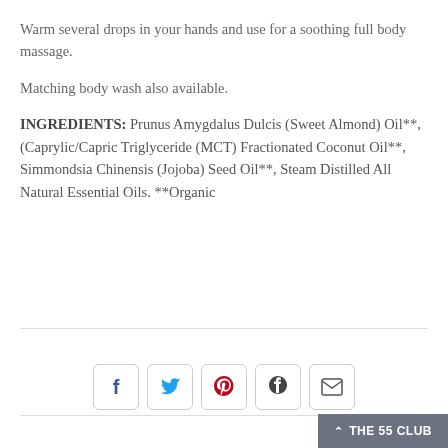Warm several drops in your hands and use for a soothing full body massage.
Matching body wash also available.
INGREDIENTS: Prunus Amygdalus Dulcis (Sweet Almond) Oil**, (Caprylic/Capric Triglyceride (MCT) Fractionated Coconut Oil**, Simmondsia Chinensis (Jojoba) Seed Oil**, Steam Distilled All Natural Essential Oils. **Organic
[Figure (infographic): Social sharing buttons: Facebook, Twitter, Pinterest, Fancy, Email]
THE 55 CLUB